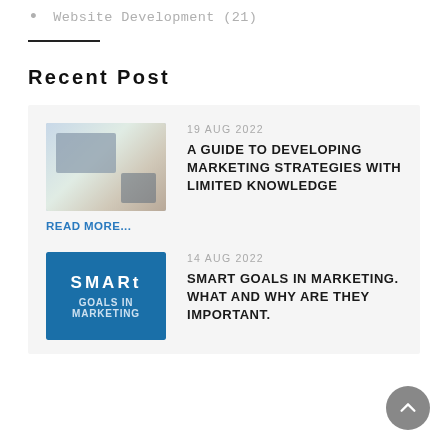Website Development (21)
Recent Post
[Figure (photo): Overhead view of a desk with laptops, phones and other gadgets]
READ MORE...
19 AUG 2022
A GUIDE TO DEVELOPING MARKETING STRATEGIES WITH LIMITED KNOWLEDGE
[Figure (logo): SMART goals logo on blue background]
14 AUG 2022
SMART GOALS IN MARKETING. WHAT AND WHY ARE THEY IMPORTANT.